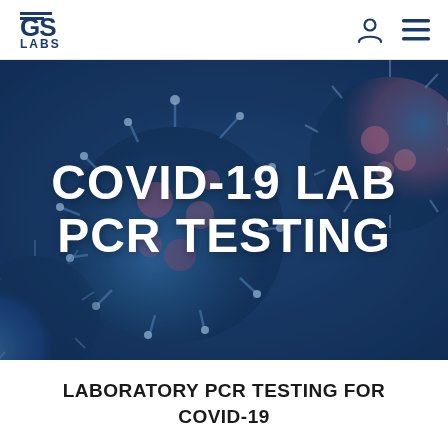GS LABS
[Figure (photo): Microscopic image of COVID-19 coronavirus particles rendered in blue and pink tones, used as a hero banner background with semi-transparent dark blue overlay. Text overlay reads: COVID-19 LAB PCR TESTING]
COVID-19 LAB PCR TESTING
LABORATORY PCR TESTING FOR COVID-19